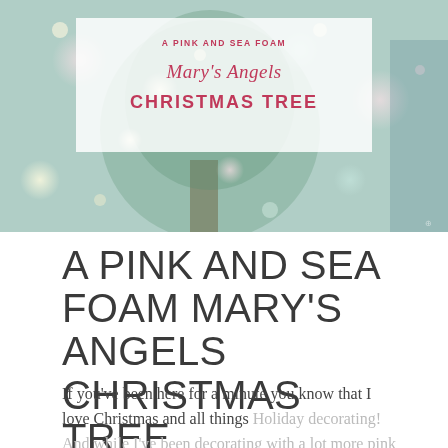[Figure (photo): A Christmas tree decorated with pink, sea foam, and white ornaments, with bokeh lights in the background. An overlay text box shows 'A PINK AND SEA FOAM Mary's Angels CHRISTMAS TREE' in pink and crimson text on a semi-transparent white background.]
A PINK AND SEA FOAM MARY'S ANGELS CHRISTMAS TREE
If you've been here for a minute you know that I love Christmas and all things Holiday decorating! And while I've been decorating with a lot more pink and rose